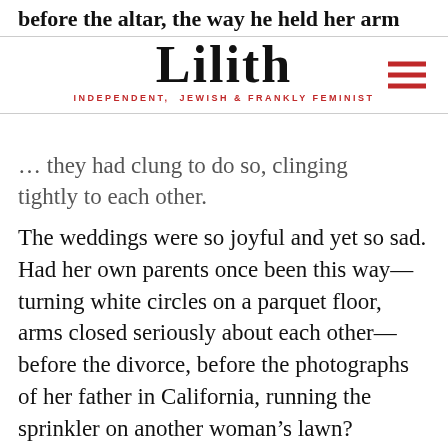before the altar, the way he held her arm
Lilith
INDEPENDENT, JEWISH & FRANKLY FEMINIST
…they had clung to each other tightly to each other.
The weddings were so joyful and yet so sad. Had her own parents once been this way—turning white circles on a parquet floor, arms closed seriously about each other—before the divorce, before the photographs of her father in California, running the sprinkler on another woman's lawn?
The earnestness of the event, the dogged determination to declare true love in suburban